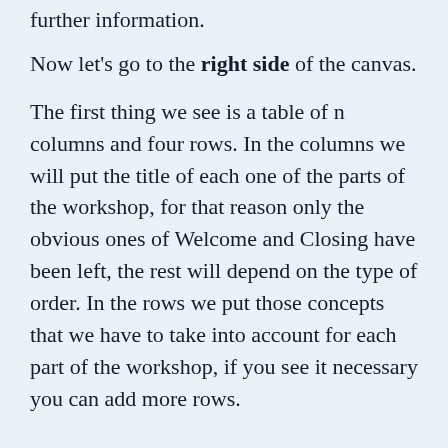further information.
Now let's go to the right side of the canvas.
The first thing we see is a table of n columns and four rows. In the columns we will put the title of each one of the parts of the workshop, for that reason only the obvious ones of Welcome and Closing have been left, the rest will depend on the type of order. In the rows we put those concepts that we have to take into account for each part of the workshop, if you see it necessary you can add more rows.